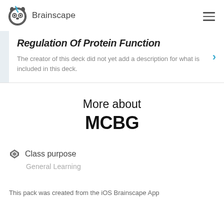Brainscape
Regulation Of Protein Function
The creator of this deck did not yet add a description for what is included in this deck.
More about
MCBG
Class purpose
General Learning
This pack was created from the iOS Brainscape App